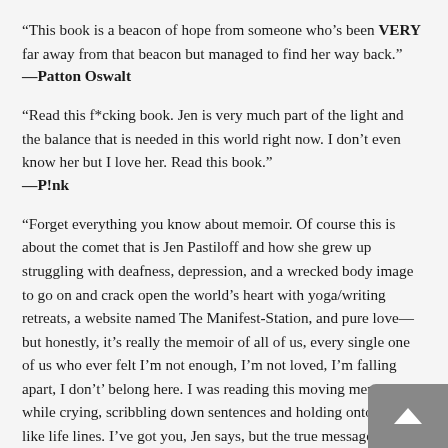“This book is a beacon of hope from someone who’s been VERY far away from that beacon but managed to find her way back.”
—Patton Oswalt
“Read this f*cking book. Jen is very much part of the light and the balance that is needed in this world right now. I don’t even know her but I love her. Read this book.”
—P!nk
“Forget everything you know about memoir. Of course this is about the comet that is Jen Pastiloff and how she grew up struggling with deafness, depression, and a wrecked body image to go on and crack open the world’s heart with yoga/writing retreats, a website named The Manifest-Station, and pure love—but honestly, it’s really the memoir of all of us, every single one of us who ever felt I’m not enough, I’m not loved, I’m falling apart, I don’t’ belong here. I was reading this moving memoir while crying, scribbling down sentences and holding onto them like life lines. I’ve got you, Jen says, but the true message of this radiant memoir is nothing about that revolutionary love we’re